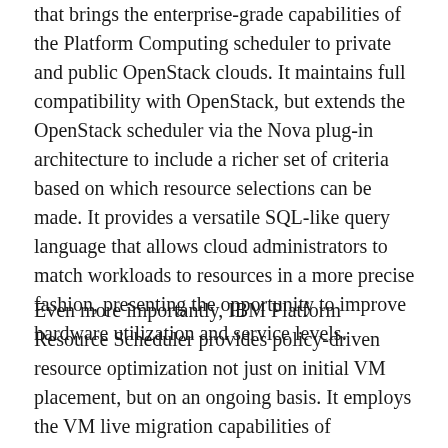that brings the enterprise-grade capabilities of the Platform Computing scheduler to private and public OpenStack clouds. It maintains full compatibility with OpenStack, but extends the OpenStack scheduler via the Nova plug-in architecture to include a richer set of criteria based on which resource selections can be made. It provides a versatile SQL-like query language that allows cloud administrators to match workloads to resources in a more precise fashion, presenting the opportunity to improve hardware utilization and service levels.
Even more importantly, IBM Platform Resource Scheduler provides policy-driven resource optimization not just on initial VM placement, but on an ongoing basis. It employs the VM live migration capabilities of underlying hypervisors to seamlessly re-balance VMs to meet specific business objectives without user or administrator intervention. By